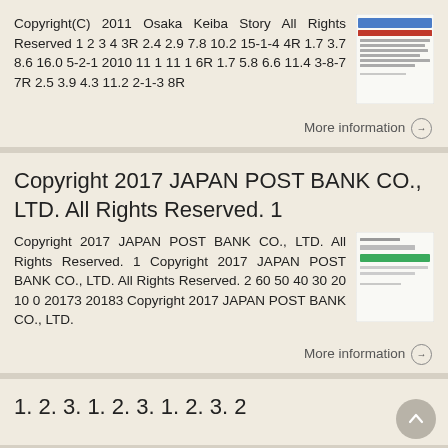Copyright(C) 2011 Osaka Keiba Story All Rights Reserved 1 2 3 4 3R 2.4 2.9 7.8 10.2 15-1-4 4R 1.7 3.7 8.6 16.0 5-2-1 2010 11 1 11 1 6R 1.7 5.8 6.6 11.4 3-8-7 7R 2.5 3.9 4.3 11.2 2-1-3 8R
[Figure (screenshot): Small thumbnail image of a document with Japanese text and blue/red header]
More information →
Copyright 2017 JAPAN POST BANK CO., LTD. All Rights Reserved. 1
Copyright 2017 JAPAN POST BANK CO., LTD. All Rights Reserved. 1 Copyright 2017 JAPAN POST BANK CO., LTD. All Rights Reserved. 2 60 50 40 30 20 10 0 20173 20183 Copyright 2017 JAPAN POST BANK CO., LTD.
[Figure (screenshot): Small thumbnail of a document with green bar chart and Japanese text]
More information →
1. 2. 3. 1. 2. 3. 1. 2. 3. 2